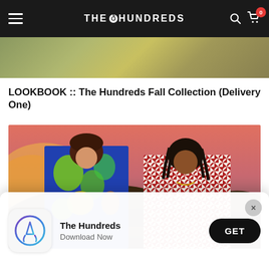THE HUNDREDS
[Figure (photo): Partial top image strip from previous page content]
LOOKBOOK :: The Hundreds Fall Collection (Delivery One)
[Figure (photo): Two models standing outdoors at sunset — woman in colorful blue-green tropical print shirt on left, man in red-and-white houndstooth shirt on right, desert hills background]
[Figure (infographic): App download banner — The Hundreds app icon (App Store logo), text 'The Hundreds / Download Now', GET button]